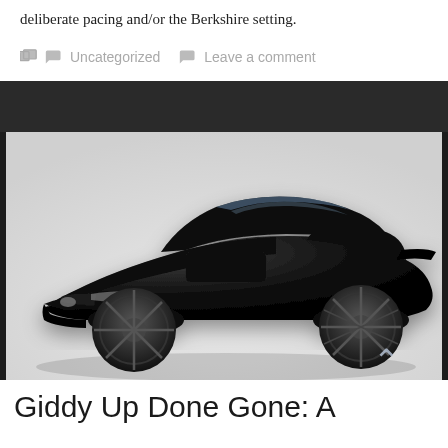deliberate pacing and/or the Berkshire setting.
Uncategorized   Leave a comment
[Figure (photo): Black Ford Mustang Shelby GT500 sports car on a white background, photographed from a front three-quarter angle showing the aggressive front fascia, hood vents, and dark alloy wheels.]
Giddy Up Done Gone: A